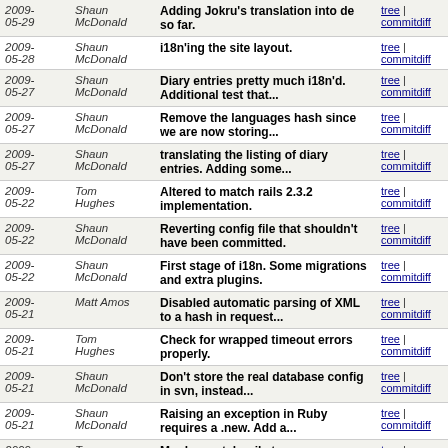| Date | Author | Message | Links |
| --- | --- | --- | --- |
| 2009-05-29 | Shaun McDonald | Adding Jokru's translation into de so far. | tree | commitdiff |
| 2009-05-28 | Shaun McDonald | i18n'ing the site layout. | tree | commitdiff |
| 2009-05-27 | Shaun McDonald | Diary entries pretty much i18n'd. Additional test that... | tree | commitdiff |
| 2009-05-27 | Shaun McDonald | Remove the languages hash since we are now storing... | tree | commitdiff |
| 2009-05-27 | Shaun McDonald | translating the listing of diary entries. Adding some... | tree | commitdiff |
| 2009-05-22 | Tom Hughes | Altered to match rails 2.3.2 implementation. | tree | commitdiff |
| 2009-05-22 | Shaun McDonald | Reverting config file that shouldn't have been committed. | tree | commitdiff |
| 2009-05-22 | Shaun McDonald | First stage of i18n. Some migrations and extra plugins. | tree | commitdiff |
| 2009-05-21 | Matt Amos | Disabled automatic parsing of XML to a hash in request... | tree | commitdiff |
| 2009-05-21 | Tom Hughes | Check for wrapped timeout errors properly. | tree | commitdiff |
| 2009-05-21 | Shaun McDonald | Don't store the real database config in svn, instead... | tree | commitdiff |
| 2009-05-21 | Shaun McDonald | Raising an exception in Ruby requires a .new. Add a... | tree | commitdiff |
| 2009-05-21 | Tom Hughes | Monkey patch rails to ensure OSM::APITimeoutError excep... | tree | commitdiff |
| 2009- | Richard | Potlatch 1.0 | tree |